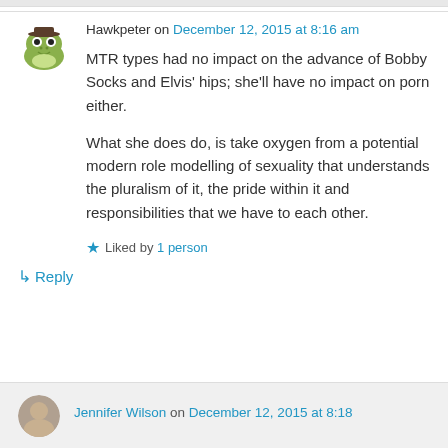Hawkpeter on December 12, 2015 at 8:16 am
MTR types had no impact on the advance of Bobby Socks and Elvis' hips; she'll have no impact on porn either.

What she does do, is take oxygen from a potential modern role modelling of sexuality that understands the pluralism of it, the pride within it and responsibilities that we have to each other.
Liked by 1 person
↳ Reply
Jennifer Wilson on December 12, 2015 at 8:18